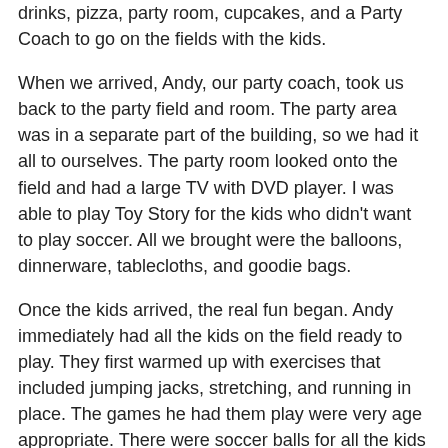drinks, pizza, party room, cupcakes, and a Party Coach to go on the fields with the kids.
When we arrived, Andy, our party coach, took us back to the party field and room. The party area was in a separate part of the building, so we had it all to ourselves. The party room looked onto the field and had a large TV with DVD player. I was able to play Toy Story for the kids who didn't want to play soccer. All we brought were the balloons, dinnerware, tablecloths, and goodie bags.
Once the kids arrived, the real fun began. Andy immediately had all the kids on the field ready to play. They first warmed up with exercises that included jumping jacks, stretching, and running in place. The games he had them play were very age appropriate. There were soccer balls for all the kids to play with and balloons, too.